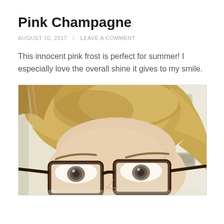Pink Champagne
AUGUST 10, 2017 / LEAVE A COMMENT
This innocent pink frost is perfect for summer! I especially love the overall shine it gives to my smile.
[Figure (photo): A selfie photo of a woman with blonde hair and dark tortoiseshell glasses, taken indoors. Only the top half of her face including her eyes, forehead, and glasses are visible. The background shows a light-colored room.]